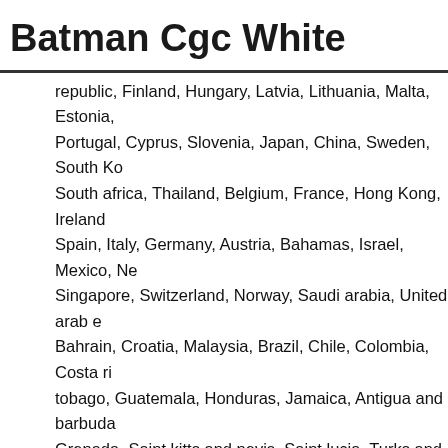Batman Cgc White
republic, Finland, Hungary, Latvia, Lithuania, Malta, Estonia, Portugal, Cyprus, Slovenia, Japan, China, Sweden, South Korea, South africa, Thailand, Belgium, France, Hong Kong, Ireland, Spain, Italy, Germany, Austria, Bahamas, Israel, Mexico, New Zealand, Singapore, Switzerland, Norway, Saudi arabia, United arab emirates, Bahrain, Croatia, Malaysia, Brazil, Chile, Colombia, Costa rica, Trinidad and tobago, Guatemala, Honduras, Jamaica, Antigua and barbuda, Grenada, Saint kitts and nevis, Saint lucia, Turks and caicos islands, Bangladesh, Bermuda, Brunei darussalam, Bolivia, Ecuador, Guernsey, Gibraltar, Guadeloupe, Iceland, Jersey, Jordan, Cambodia, Liechtenstein, Sri lanka, Luxembourg, Monaco, Macao, Martinique, Nicaragua, Oman, Peru, Pakistan, Paraguay, Reunion, Viet nam, Ukraine.
Certification: CGC
Grade: 10 GEM MT
Publisher: DC